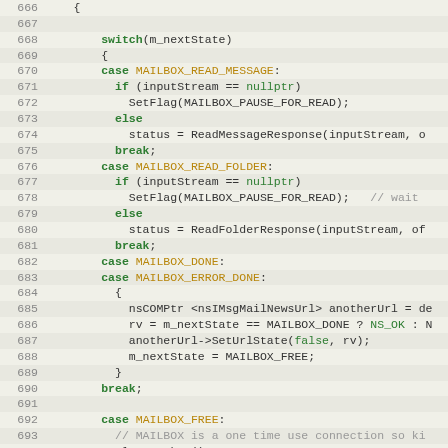[Figure (screenshot): Source code listing showing C++ switch statement handling mailbox states (lines 666-697). Code uses green for keywords like switch, case, break, if, else, return, default; gold/brown for constants like MAILBOX_READ_MESSAGE, MAILBOX_READ_FOLDER, MAILBOX_DONE, MAILBOX_ERROR_DONE, MAILBOX_FREE, NS_OK; and green italic for boolean values like nullptr, false. Line numbers shown on left in gray.]